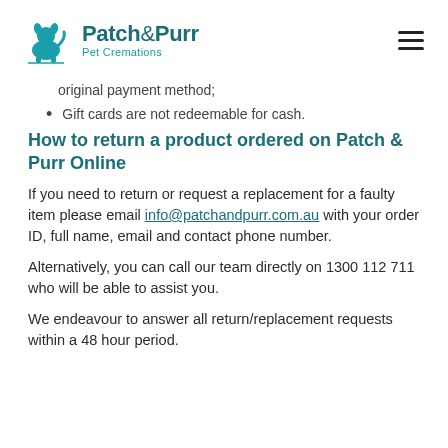Patch & Purr Pet Cremations
original payment method;
Gift cards are not redeemable for cash.
How to return a product ordered on Patch & Purr Online
If you need to return or request a replacement for a faulty item please email info@patchandpurr.com.au with your order ID, full name, email and contact phone number.
Alternatively, you can call our team directly on 1300 112 711 who will be able to assist you.
We endeavour to answer all return/replacement requests within a 48 hour period.